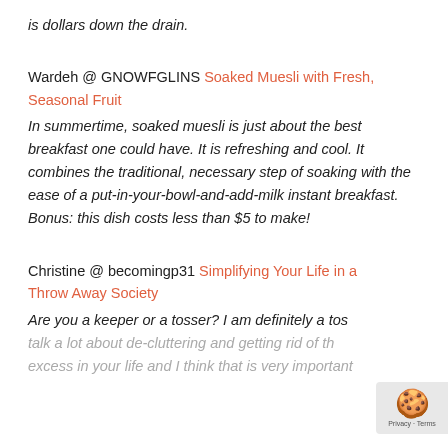is dollars down the drain.
Wardeh @ GNOWFGLINS Soaked Muesli with Fresh, Seasonal Fruit
In summertime, soaked muesli is just about the best breakfast one could have. It is refreshing and cool. It combines the traditional, necessary step of soaking with the ease of a put-in-your-bowl-and-add-milk instant breakfast. Bonus: this dish costs less than $5 to make!
Christine @ becomingp31 Simplifying Your Life in a Throw Away Society
Are you a keeper or a tosser? I am definitely a tos... talk a lot about de-cluttering and getting rid of th... excess in your life and I think that is very important